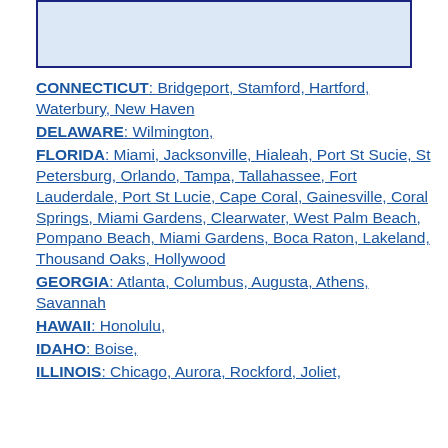[Figure (other): Light blue rectangle with dark navy border at top of page]
CONNECTICUT: Bridgeport, Stamford, Hartford, Waterbury, New Haven
DELAWARE: Wilmington,
FLORIDA: Miami, Jacksonville, Hialeah, Port St Sucie, St Petersburg, Orlando, Tampa, Tallahassee, Fort Lauderdale, Port St Lucie, Cape Coral, Gainesville, Coral Springs, Miami Gardens, Clearwater, West Palm Beach, Pompano Beach, Miami Gardens, Boca Raton, Lakeland, Thousand Oaks, Hollywood
GEORGIA: Atlanta, Columbus, Augusta, Athens, Savannah
HAWAII: Honolulu,
IDAHO: Boise,
ILLINOIS: Chicago, Aurora, Rockford, Joliet,